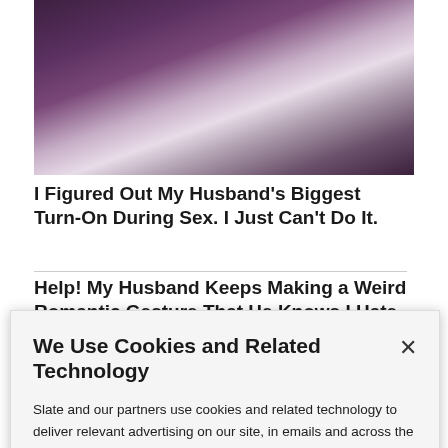[Figure (photo): Close-up black and white photo of a woman with dark hair, partially visible face and shoulder area, with purple-toned coloring.]
I Figured Out My Husband's Biggest Turn-On During Sex. I Just Can't Do It.
Help! My Husband Keeps Making a Weird Romantic Gesture That He Knows I Hate.
We Use Cookies and Related Technology
Slate and our partners use cookies and related technology to deliver relevant advertising on our site, in emails and across the Internet. We and our partners also use these technologies to personalize content and perform site analytics. For more information, see our terms and privacy policy.  Privacy Policy
OK